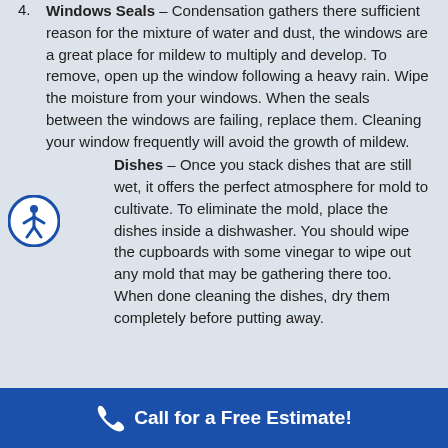Windows Seals – Condensation gathers there sufficient reason for the mixture of water and dust, the windows are a great place for mildew to multiply and develop. To remove, open up the window following a heavy rain. Wipe the moisture from your windows. When the seals between the windows are failing, replace them. Cleaning your window frequently will avoid the growth of mildew.
Dishes – Once you stack dishes that are still wet, it offers the perfect atmosphere for mold to cultivate. To eliminate the mold, place the dishes inside a dishwasher. You should wipe the cupboards with some vinegar to wipe out any mold that may be gathering there too. When done cleaning the dishes, dry them completely before putting away.
Call for a Free Estimate!